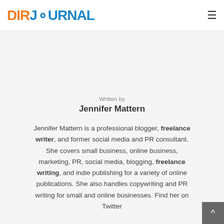DIRJOURNAL
[Figure (logo): DirJournal logo with orange DIR text and blue JOURNAL text with a map pin icon]
Written by
Jennifer Mattern
Jennifer Mattern is a professional blogger, freelance writer, and former social media and PR consultant. She covers small business, online business, marketing, PR, social media, blogging, freelance writing, and indie publishing for a variety of online publications. She also handles copywriting and PR writing for small and online businesses. Find her on Twitter